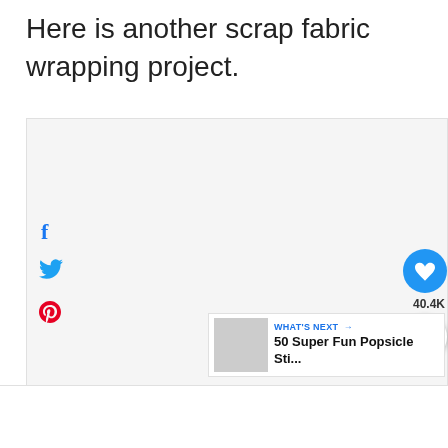Here is another scrap fabric wrapping project.
[Figure (other): Large image area placeholder for scrap fabric wrapping project photo, with social sharing icons (Facebook, Twitter, Pinterest) on the left side, a heart/save button and share button on the right side showing 40.4K saves. A 'WHAT'S NEXT' thumbnail for '50 Super Fun Popsicle Sti...' at the bottom right.]